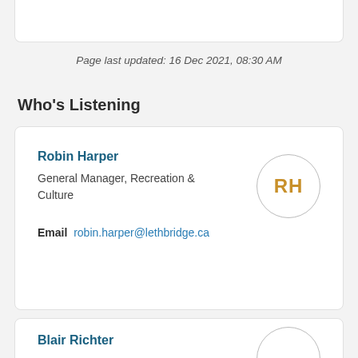Page last updated: 16 Dec 2021, 08:30 AM
Who's Listening
Robin Harper
General Manager, Recreation & Culture
Email  robin.harper@lethbridge.ca
Blair Richter